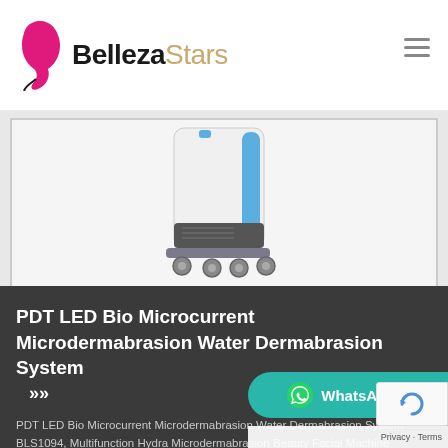BellezaStars
[Figure (photo): White and blue medical beauty machine with wheels on a light grey background, shown inside a bordered frame]
PDT LED Bio Microcurrent Microdermabrasion Water Dermabrasion System >>
PDT LED Bio Microcurrent Microdermabrasion Water Dermabrasion System BLS1094, Multifunction Hydra Microdermabrasion Beauty Facial Machine Microdermabrasion with PDT for removing blackhead and acne beauty equipment